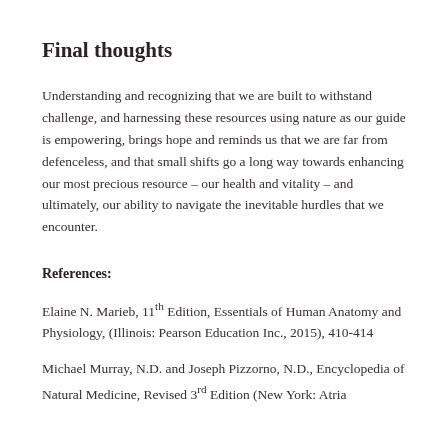Final thoughts
Understanding and recognizing that we are built to withstand challenge, and harnessing these resources using nature as our guide is empowering, brings hope and reminds us that we are far from defenceless, and that small shifts go a long way towards enhancing our most precious resource – our health and vitality – and ultimately, our ability to navigate the inevitable hurdles that we encounter.
References:
Elaine N. Marieb, 11th Edition, Essentials of Human Anatomy and Physiology, (Illinois: Pearson Education Inc., 2015), 410-414
Michael Murray, N.D. and Joseph Pizzorno, N.D., Encyclopedia of Natural Medicine, Revised 3rd Edition (New York: Atria